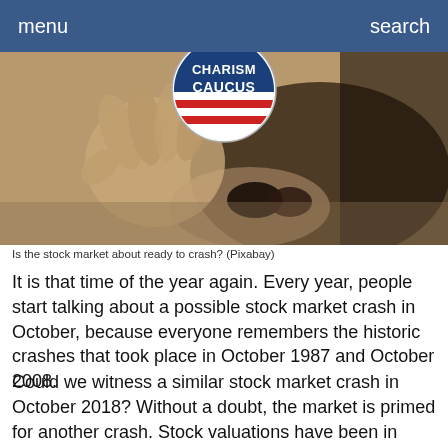menu    search
[Figure (photo): A sepia-toned close-up photograph of a person holding a 'Charisma Caucus' campaign button near a horse's mouth. The image has a vintage, desaturated tone.]
Is the stock market about ready to crash? (Pixabay)
It is that time of the year again. Every year, people start talking about a possible stock market crash in October, because everyone remembers the historic crashes that took place in October 1987 and October 2008.
Could we witness a similar stock market crash in October 2018? Without a doubt, the market is primed for another crash. Stock valuations have been in crazytown territory for a very long time, and financial chaos has already